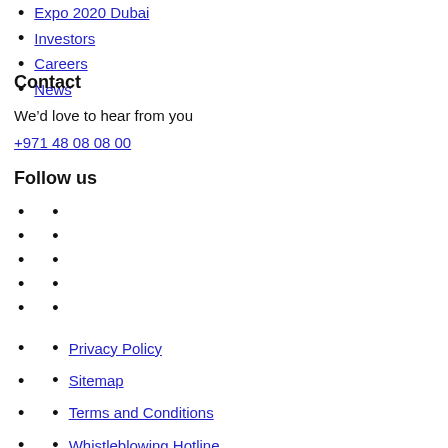Expo 2020 Dubai
Investors
Careers
News
Contact
We’d love to hear from you
+971 48 08 08 00
Follow us
Privacy Policy
Sitemap
Terms and Conditions
Whistleblowing Hotline
Modern Slavery Act